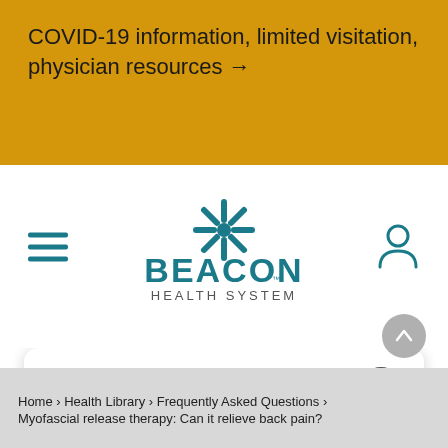COVID-19 information, limited visitation, physician resources →
[Figure (logo): Beacon Health System logo with teal star/snowflake graphic above BEACON text and HEALTH SYSTEM below]
How can we help? Ask Beacon.
Home › Health Library › Frequently Asked Questions › Myofascial release therapy: Can it relieve back pain?